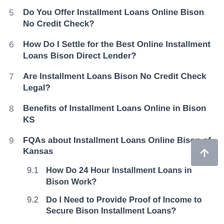5  Do You Offer Installment Loans Online Bison No Credit Check?
6  How Do I Settle for the Best Online Installment Loans Bison Direct Lender?
7  Are Installment Loans Bison No Credit Check Legal?
8  Benefits of Installment Loans Online in Bison KS
9  FQAs about Installment Loans Online Bison of Kansas
9.1  How Do 24 Hour Installment Loans in Bison Work?
9.2  Do I Need to Provide Proof of Income to Secure Bison Installment Loans?
9.3  What If I No Longer Need the Secured